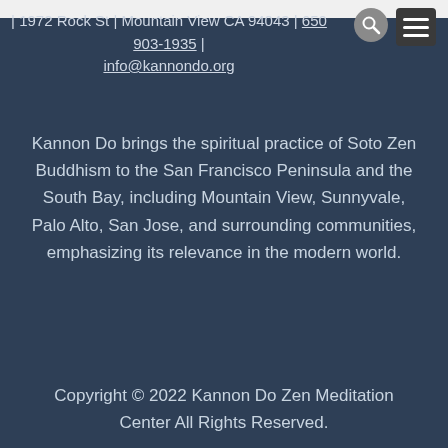| 1972 Rock St | Mountain View CA 94043 | 650 903-1935 | info@kannondo.org
Kannon Do brings the spiritual practice of Soto Zen Buddhism to the San Francisco Peninsula and the South Bay, including Mountain View, Sunnyvale, Palo Alto, San Jose, and surrounding communities, emphasizing its relevance in the modern world.
Copyright © 2022 Kannon Do Zen Meditation Center All Rights Reserved.